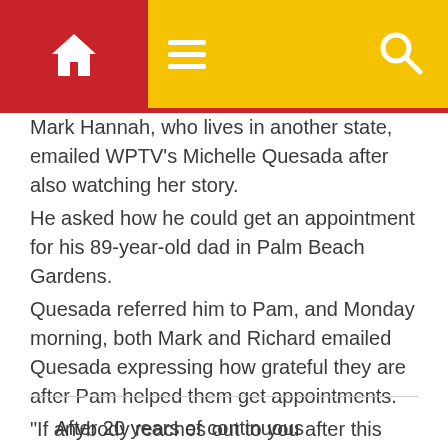Navigation bar with home icon, hamburger menu, and search icon
Mark Hannah, who lives in another state, emailed WPTV's Michelle Quesada after also watching her story. He asked how he could get an appointment for his 89-year-old dad in Palm Beach Gardens. Quesada referred him to Pam, and Monday morning, both Mark and Richard emailed Quesada expressing how grateful they are after Pam helped them get appointments. “If anybody reaches out to you after this interview you send them on to me. My mother says you’re going to have hundreds of people, I’m like, I will sit and do whatever I can do until they don’t need me to do it anymore,” Anderson said.
After 20 years of continuous habitation, the